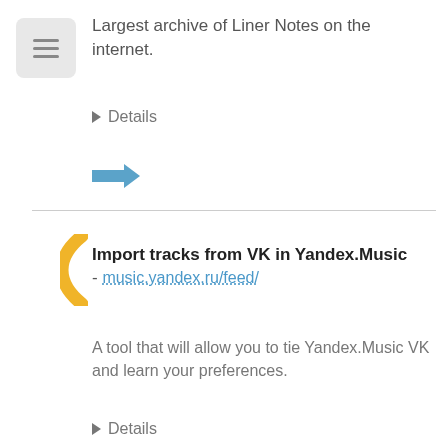[Figure (screenshot): Menu hamburger icon — three horizontal lines in a light grey rounded rectangle]
Largest archive of Liner Notes on the internet.
Details
[Figure (illustration): Blue arrow pointing right]
[Figure (illustration): Yellow vertical accent bar (parenthesis-like shape)]
Import tracks from VK in Yandex.Music - music.yandex.ru/feed/
A tool that will allow you to tie Yandex.Music VK and learn your preferences.
Details